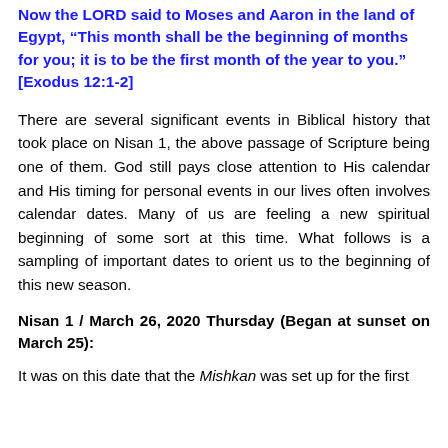Now the LORD said to Moses and Aaron in the land of Egypt, “This month shall be the beginning of months for you; it is to be the first month of the year to you.” [Exodus 12:1-2]
There are several significant events in Biblical history that took place on Nisan 1, the above passage of Scripture being one of them. God still pays close attention to His calendar and His timing for personal events in our lives often involves calendar dates. Many of us are feeling a new spiritual beginning of some sort at this time. What follows is a sampling of important dates to orient us to the beginning of this new season.
Nisan 1 / March 26, 2020 Thursday (Began at sunset on March 25):
It was on this date that the Mishkan was set up for the first